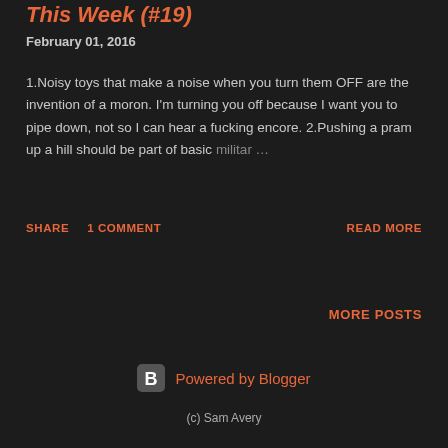This Week (#19)
February 01, 2016
1.Noisy toys that make a noise when you turn them OFF are the invention of a moron. I'm turning you off because I want you to pipe down, not so I can hear a fucking encore. 2.Pushing a pram up a hill should be part of basic militar …
SHARE   1 COMMENT   READ MORE
MORE POSTS
Powered by Blogger
(c) Sam Avery